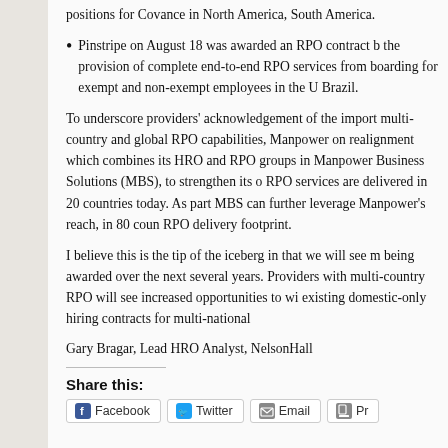positions for Covance in North America, South America.
Pinstripe on August 18 was awarded an RPO contract b the provision of complete end-to-end RPO services from boarding for exempt and non-exempt employees in the U Brazil.
To underscore providers' acknowledgement of the import multi-country and global RPO capabilities, Manpower on realignment which combines its HRO and RPO groups in Manpower Business Solutions (MBS), to strengthen its o RPO services are delivered in 20 countries today. As par MBS can further leverage Manpower's reach, in 80 coun RPO delivery footprint.
I believe this is the tip of the iceberg in that we will see m being awarded over the next several years. Providers with multi-country RPO will see increased opportunities to wi existing domestic-only hiring contracts for multi-national
Gary Bragar, Lead HRO Analyst, NelsonHall
Share this:
Facebook Twitter Email Print